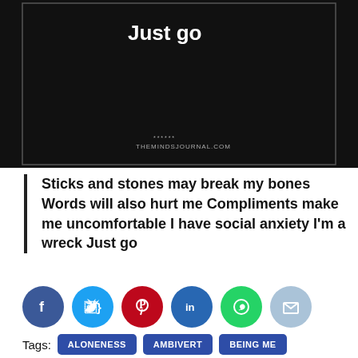[Figure (photo): Dark/black background image with white text reading 'Just go' and THEMINDSJOURNAL.COM watermark at the bottom center]
Sticks and stones may break my bones Words will also hurt me Compliments make me uncomfortable I have social anxiety I'm a wreck Just go
[Figure (infographic): Social sharing icons: Facebook (dark blue), Twitter (light blue), Pinterest (red), LinkedIn (dark blue), WhatsApp (green), Email (light blue)]
Tags: ALONENESS  AMBIVERT  BEING ME
BEING MYSELF  DEEP CONVERSATIONS  DOG PERSON